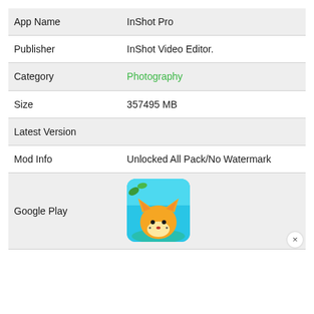| App Name | InShot Pro |
| Publisher | InShot Video Editor. |
| Category | Photography |
| Size | 357495 MB |
| Latest Version |  |
| Mod Info | Unlocked All Pack/No Watermark |
| Google Play | [app icon image] |